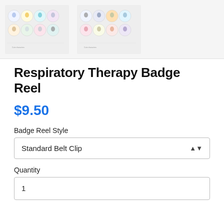[Figure (photo): Two sheets of circular badge/sticker designs featuring cute anime-style character illustrations, arranged in a grid pattern on white backgrounds]
Respiratory Therapy Badge Reel
$9.50
Badge Reel Style
Standard Belt Clip
Quantity
1